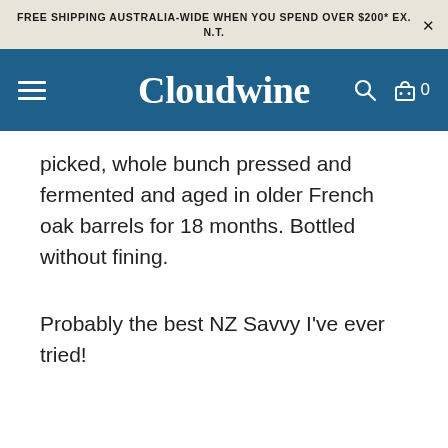FREE SHIPPING AUSTRALIA-WIDE WHEN YOU SPEND OVER $200* EX. N.T.
[Figure (screenshot): Cloudwine website navigation bar with hamburger menu, Cloudwine logo, search icon, and cart icon showing 0 items]
picked, whole bunch pressed and fermented and aged in older French oak barrels for 18 months. Bottled without fining.
Probably the best NZ Savvy I've ever tried!